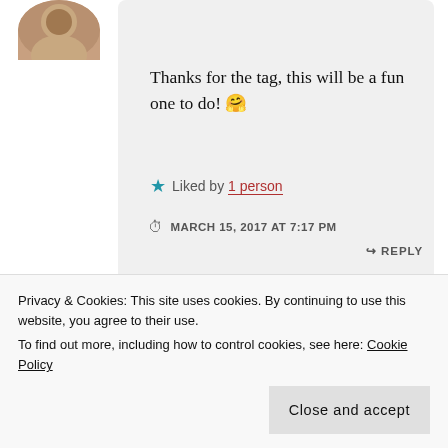[Figure (photo): Circular avatar photo of a person, top left, partially cropped]
Thanks for the tag, this will be a fun one to do! 🤗
★ Liked by 1 person
MARCH 15, 2017 AT 7:17 PM
↳ REPLY
[Figure (photo): Circular avatar photo of a person, bottom left, partially visible]
Privacy & Cookies: This site uses cookies. By continuing to use this website, you agree to their use.
To find out more, including how to control cookies, see here: Cookie Policy
Close and accept